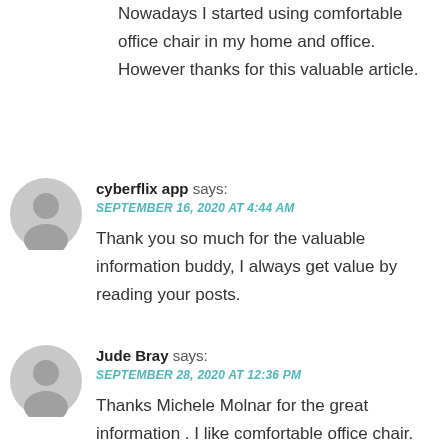Nowadays I started using comfortable office chair in my home and office. However thanks for this valuable article.
cyberflix app says:
SEPTEMBER 16, 2020 AT 4:44 AM
Thank you so much for the valuable information buddy, I always get value by reading your posts.
Jude Bray says:
SEPTEMBER 28, 2020 AT 12:36 PM
Thanks Michele Molnar for the great information . I like comfortable office chair.